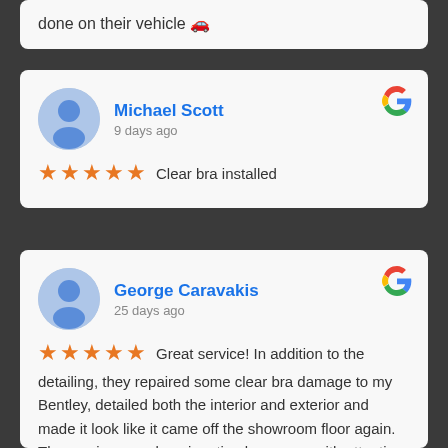done on their vehicle 🚗
Michael Scott
9 days ago
★★★★★ Clear bra installed
George Caravakis
25 days ago
★★★★★ Great service! In addition to the detailing, they repaired some clear bra damage to my Bentley, detailed both the interior and exterior and made it look like it came off the showroom floor again. The service was done in a timely manner with attention to details. I highly recommend them to